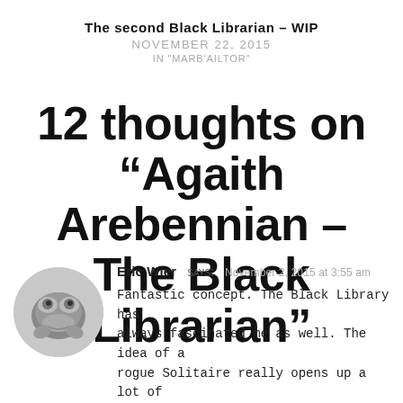The second Black Librarian – WIP
NOVEMBER 22, 2015
IN "MARB'AILTOR"
12 thoughts on “Agaith Arebennian – The Black Librarian”
[Figure (photo): Small circular avatar image of a frog or toad-like creature, grayscale illustration]
Eric Wier says:  November 2, 2015 at 3:55 am

Fantastic concept. The Black Library has always fascinated me as well. The idea of a rogue Solitaire really opens up a lot of